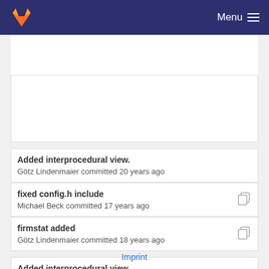Menu
Added interprocedural view.
Götz Lindenmaier committed 20 years ago
fixed config.h include
Michael Beck committed 17 years ago
firmstat added
Götz Lindenmaier committed 18 years ago
Added interprocedural view.
Götz Lindenmaier committed 20 years ago
Imprint